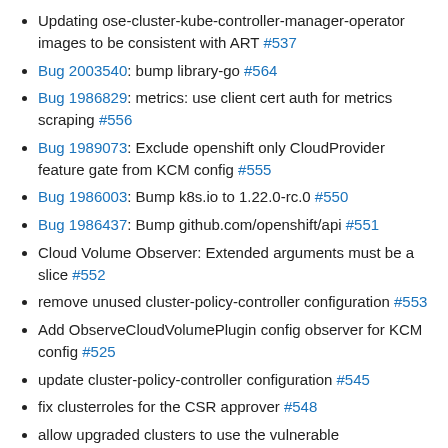Updating ose-cluster-kube-controller-manager-operator images to be consistent with ART #537
Bug 2003540: bump library-go #564
Bug 1986829: metrics: use client cert auth for metrics scraping #556
Bug 1989073: Exclude openshift only CloudProvider feature gate from KCM config #555
Bug 1986003: Bump k8s.io to 1.22.0-rc.0 #550
Bug 1986437: Bump github.com/openshift/api #551
Cloud Volume Observer: Extended arguments must be a slice #552
remove unused cluster-policy-controller configuration #553
Add ObserveCloudVolumePlugin config observer for KCM config #525
update cluster-policy-controller configuration #545
fix clusterroles for the CSR approver #548
allow upgraded clusters to use the vulnerable